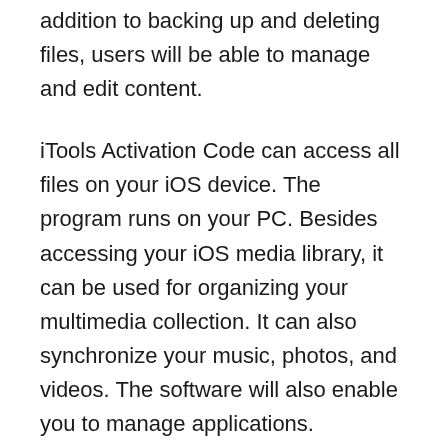addition to backing up and deleting files, users will be able to manage and edit content.
iTools Activation Code can access all files on your iOS device. The program runs on your PC. Besides accessing your iOS media library, it can be used for organizing your multimedia collection. It can also synchronize your music, photos, and videos. The software will also enable you to manage applications. Therefore, all users can download the latest version of iTools Crack and help solve your problem. It is a great and amazing tool for all touch users.
iTools 4 Crack License Key Download can handle all